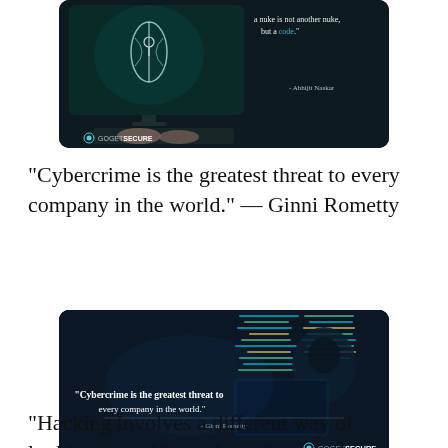[Figure (photo): Partial top cybersecurity image with computer monitor showing teal/white design, hands on keyboard, text 'a nuke is not another nuke, but a code.' and attribution '- Abhijit Naskar', GOGETSECURE logo at bottom left]
“Cybercrime is the greatest threat to every company in the world.” — Ginni Rometty
[Figure (photo): Dark cybersecurity image showing hooded figure at computer with code on screen, text 'Cybercrime is the greatest threat to every company in the world.' and attribution '- Ginni Rometty', GOGETSECURE logo at bottom right]
“Hacking involves a different way of looking at problems that others don’t...